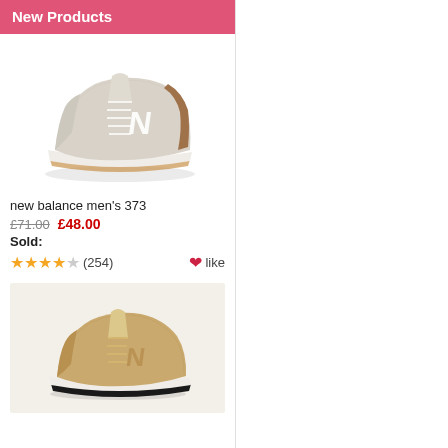New Products
[Figure (photo): New Balance men's 373 sneaker in light grey/beige with brown accent and white N logo, shown from the side on white background]
new balance men's 373
£71.00  £48.00
Sold:
★★★★☆ (254)  ❤like
[Figure (photo): New Balance sneaker in tan/wheat suede colorway, shown from the side on light grey background]